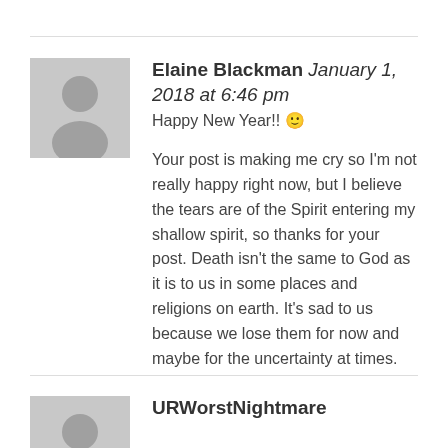Elaine Blackman January 1, 2018 at 6:46 pm
Happy New Year!! 🙂

Your post is making me cry so I'm not really happy right now, but I believe the tears are of the Spirit entering my shallow spirit, so thanks for your post. Death isn't the same to God as it is to us in some places and religions on earth. It's sad to us because we lose them for now and maybe for the uncertainty at times.
URWorstNightmare